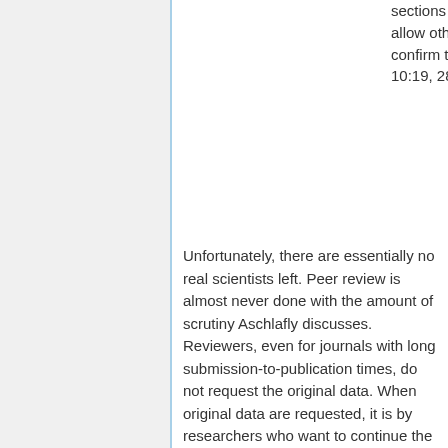sections exist in papers: To allow others to repeat and confirm the work.--Argon 10:19, 28 June 2008 (EDT)
Unfortunately, there are essentially no real scientists left. Peer review is almost never done with the amount of scrutiny Aschlafly discusses. Reviewers, even for journals with long submission-to-publication times, do not request the original data. When original data are requested, it is by researchers who want to continue the work and write publications of their own on the subject. There just aren't incentives to do